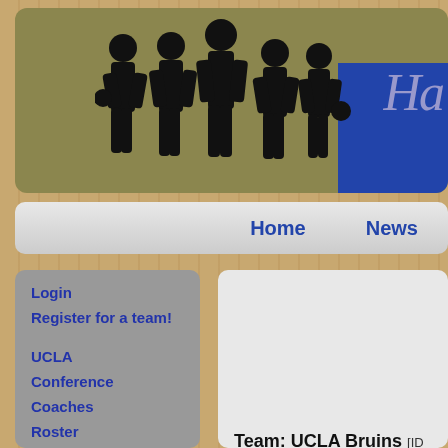[Figure (illustration): Header banner with olive/khaki background showing silhouettes of 5 basketball players and partial blue box with italic text 'Ha' visible on right]
Home  News
Login
Register for a team!
UCLA
Conference
Coaches
Roster
Player Development
Depth Chart
Game Tactics
Team: UCLA Bruins [ID #1]
Location: Los Angeles, CA